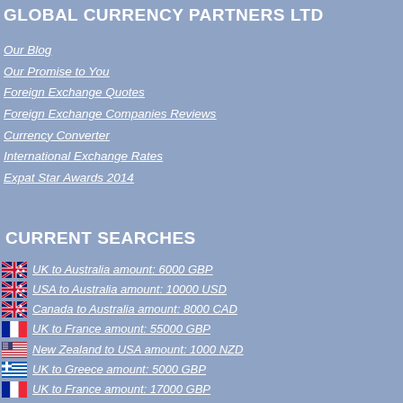GLOBAL CURRENCY PARTNERS LTD
Our Blog
Our Promise to You
Foreign Exchange Quotes
Foreign Exchange Companies Reviews
Currency Converter
International Exchange Rates
Expat Star Awards 2014
CURRENT SEARCHES
UK to Australia amount: 6000 GBP
USA to Australia amount: 10000 USD
Canada to Australia amount: 8000 CAD
UK to France amount: 55000 GBP
New Zealand to USA amount: 1000 NZD
UK to Greece amount: 5000 GBP
UK to France amount: 17000 GBP